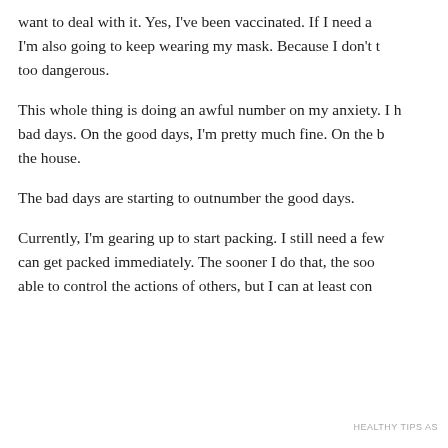want to deal with it. Yes, I've been vaccinated. If I need a I'm also going to keep wearing my mask. Because I don't t too dangerous.
This whole thing is doing an awful number on my anxiety. I h bad days. On the good days, I'm pretty much fine. On the b the house.
The bad days are starting to outnumber the good days.
Currently, I'm gearing up to start packing. I still need a few can get packed immediately. The sooner I do that, the soo able to control the actions of others, but I can at least con
Privacy & Cookies: This site uses cookies. By continuing to use this website, you agree to their use.
To find out more, including how to control cookies, see here: Cookie Policy
Close and accept